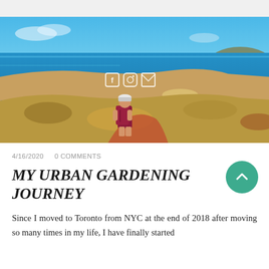[Figure (photo): A hiker with a red backpack and white cap walking along a rocky coastal trail overlooking a bright blue sea, with a small rocky island visible in the distance. Social media icons (Facebook, Instagram, envelope) are overlaid on the image.]
4/16/2020   0 COMMENTS
MY URBAN GARDENING JOURNEY
Since I moved to Toronto from NYC at the end of 2018 after moving so many times in my life, I have finally started